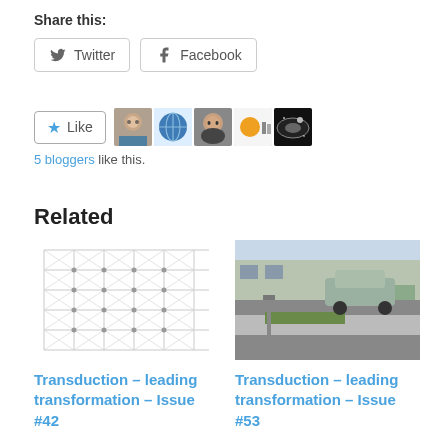Share this:
Twitter  Facebook
[Figure (other): Like button with star icon, followed by 5 blogger avatar thumbnails]
5 bloggers like this.
Related
[Figure (photo): Grid pattern optical illusion image (Scintillating grid)]
Transduction – leading transformation – Issue #42
[Figure (photo): Street scene with a car, sidewalk and a post]
Transduction – leading transformation – Issue #53